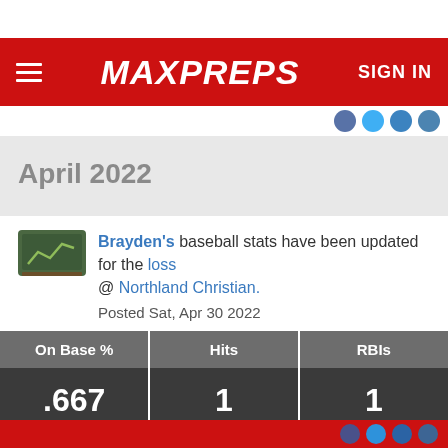MAXPREPS  SIGN IN
April 2022
Brayden's baseball stats have been updated for the loss @ Northland Christian.
Posted Sat, Apr 30 2022
| On Base % | Hits | RBIs |
| --- | --- | --- |
| .667 | 1 | 1 |